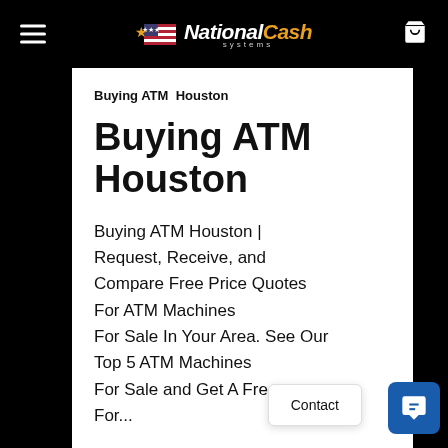National Cash Systems
Buying ATM  Houston
Buying ATM Houston
Buying ATM Houston | Request, Receive, and Compare Free Price Quotes For ATM Machines For Sale In Your Area. See Our Top 5 ATM Machines For Sale and Get A Free For...